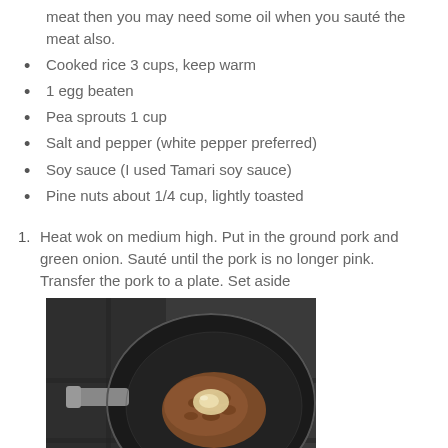meat then you may need some oil when you sauté the meat also.
Cooked rice 3 cups, keep warm
1 egg beaten
Pea sprouts 1 cup
Salt and pepper (white pepper preferred)
Soy sauce (I used Tamari soy sauce)
Pine nuts about 1/4 cup, lightly toasted
Heat wok on medium high. Put in the ground pork and green onion. Sauté until the pork is no longer pink. Transfer the pork to a plate. Set aside
[Figure (photo): A black wok on a gas stove with cooked ground pork and minced garlic/onion in the center, viewed from above.]